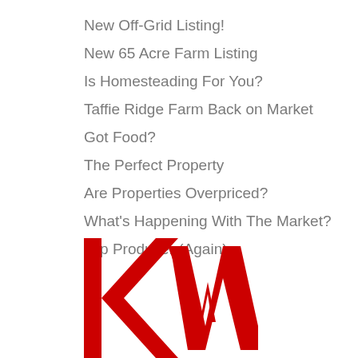New Off-Grid Listing!
New 65 Acre Farm Listing
Is Homesteading For You?
Taffie Ridge Farm Back on Market
Got Food?
The Perfect Property
Are Properties Overpriced?
What's Happening With The Market?
Top Producer (Again)
[Figure (logo): Keller Williams (KW) logo in red with large lowercase 'kw' letters]